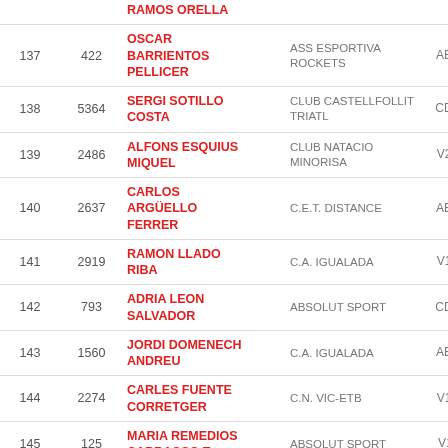| Pos | Num | Name | Club | Cat | Val |
| --- | --- | --- | --- | --- | --- |
|  |  | RAMOS ORELLA |  |  |  |
| 137 | 422 | OSCAR BARRIENTOS PELLICER | ASS ESPORTIVA ROCKETS | ABM | 01 |
| 138 | 5364 | SERGI SOTILLO COSTA | CLUB CASTELLFOLLIT TRIATL | CDM | 01 |
| 139 | 2486 | ALFONS ESQUIUS MIQUEL | CLUB NATACIO MINORISA | V2M | 01 |
| 140 | 2637 | CARLOS ARGÜELLO FERRER | C.E.T. DISTANCE | ABM | 01 |
| 141 | 2919 | RAMON LLADO RIBA | C.A. IGUALADA | V1M | 01 |
| 142 | 793 | ADRIA LEON SALVADOR | ABSOLUT SPORT | CDM | 01 |
| 143 | 1560 | JORDI DOMENECH ANDREU | C.A. IGUALADA | ABM | 01 |
| 144 | 2274 | CARLES FUENTE CORRETGER | C.N. VIC-ETB | V1M | 01 |
| 145 | 125 | MARIA REMEDIOS CARRASCO T | ABSOLUT SPORT | V1F | 01 |
| 146 | 1653 | ALBERT TRULLAS JIMENEZ | C.T. PARETS DEL VALLES | ABM | 01 |
| 147 | 1270 | MARC MONTALBAN ESPAÑOL | C.E. VILA OLIMPICA | ABM | 01 |
| 148 | 2017 | SERGIO CARA QUERO | C.T. PARETS DEL VALLES | ABM | 01 |
| 149 | 4626 | PEDRO PEREZ SANCHEZ | VILADECANS TRIATLO | ABM | 01 |